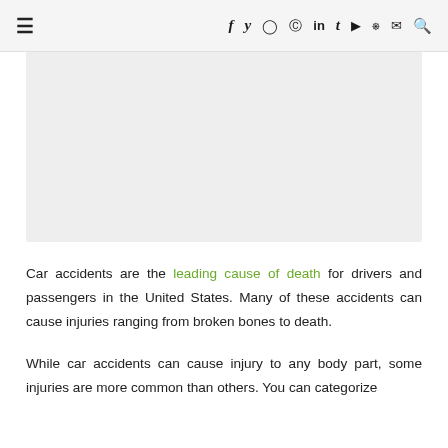☰  f y ⊙ ⊕ in t ▶ ⌥ ∂ 🔍
[Figure (other): Large light gray placeholder image or article hero image area]
Car accidents are the leading cause of death for drivers and passengers in the United States. Many of these accidents can cause injuries ranging from broken bones to death.
While car accidents can cause injury to any body part, some injuries are more common than others. You can categorize